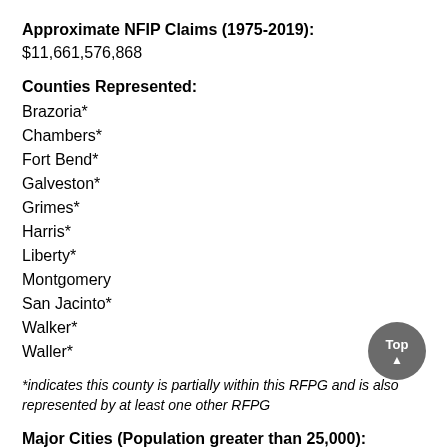Approximate NFIP Claims (1975-2019): $11,661,576,868
Counties Represented:
Brazoria*
Chambers*
Fort Bend*
Galveston*
Grimes*
Harris*
Liberty*
Montgomery
San Jacinto*
Walker*
Waller*
*indicates this county is partially within this RFPG and is also represented by at least one other RFPG
Major Cities (Population greater than 25,000):